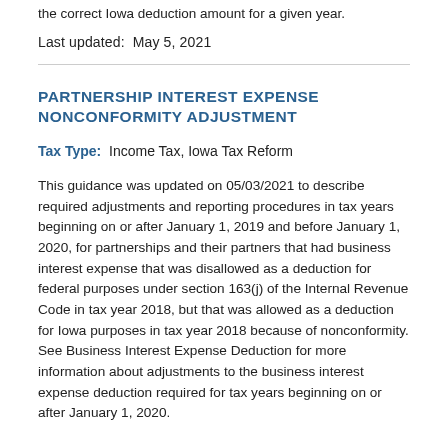the correct Iowa deduction amount for a given year.
Last updated:  May 5, 2021
PARTNERSHIP INTEREST EXPENSE NONCONFORMITY ADJUSTMENT
Tax Type:  Income Tax, Iowa Tax Reform
This guidance was updated on 05/03/2021 to describe required adjustments and reporting procedures in tax years beginning on or after January 1, 2019 and before January 1, 2020, for partnerships and their partners that had business interest expense that was disallowed as a deduction for federal purposes under section 163(j) of the Internal Revenue Code in tax year 2018, but that was allowed as a deduction for Iowa purposes in tax year 2018 because of nonconformity. See Business Interest Expense Deduction for more information about adjustments to the business interest expense deduction required for tax years beginning on or after January 1, 2020.